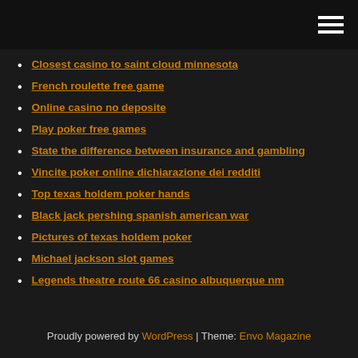[hamburger menu icon]
Closest casino to saint cloud minnesota
French roulette free game
Online casino no deposite
Play poker free games
State the difference between insurance and gambling
Vincite poker online dichiarazione dei redditi
Top texas holdem poker hands
Black jack pershing spanish american war
Pictures of texas holdem poker
Michael jackson slot games
Legends theatre route 66 casino albuquerque nm
Proudly powered by WordPress | Theme: Envo Magazine